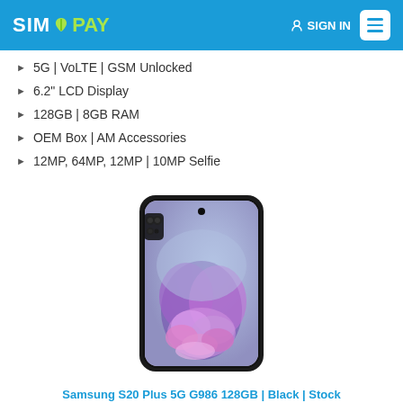SIMAPAY — SIGN IN
5G | VoLTE | GSM Unlocked
6.2" LCD Display
128GB | 8GB RAM
OEM Box | AM Accessories
12MP, 64MP, 12MP | 10MP Selfie
[Figure (photo): Samsung Galaxy S20 Plus 5G smartphone in Cosmic Black, front view showing a colorful floral/nature wallpaper on the display, with punch-hole camera at top center and triple-camera module visible at top left.]
Samsung S20 Plus 5G G986 128GB | Black | Stock